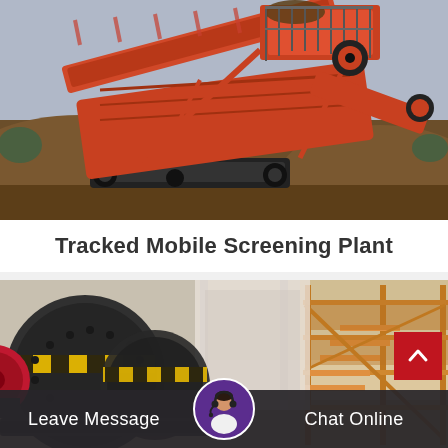[Figure (photo): Tracked mobile screening plant — a large red and black tracked machine with conveyor belts processing soil/aggregate on a construction site, with mounds of dirt in background under cloudy sky.]
Tracked Mobile Screening Plant
[Figure (photo): Industrial mining/crushing equipment inside a large facility — large black cylindrical ball mills with yellow warning stripes on the left, and multi-level orange/yellow scaffolding structure on the right.]
Leave Message   Chat Online